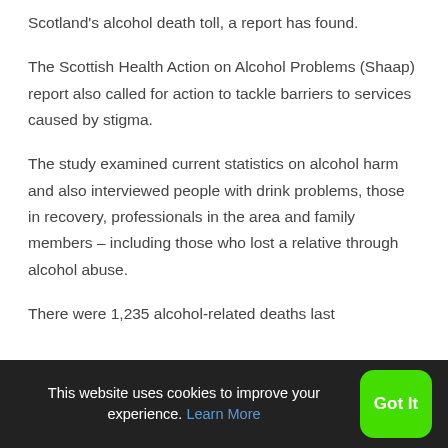Scotland's alcohol death toll, a report has found.
The Scottish Health Action on Alcohol Problems (Shaap) report also called for action to tackle barriers to services caused by stigma.
The study examined current statistics on alcohol harm and also interviewed people with drink problems, those in recovery, professionals in the area and family members – including those who lost a relative through alcohol abuse.
There were 1,235 alcohol-related deaths last
This website uses cookies to improve your experience. Learn More  Got It